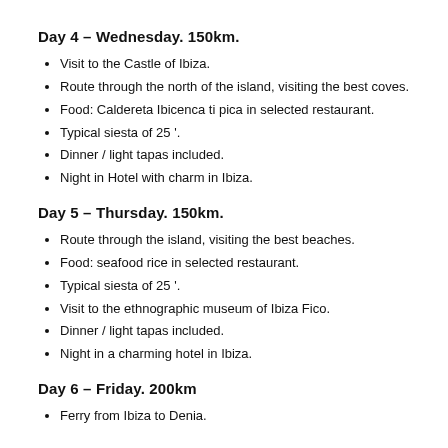Day 4 – Wednesday. 150km.
Visit to the Castle of Ibiza.
Route through the north of the island, visiting the best coves.
Food: Caldereta Ibicenca ti pica in selected restaurant.
Typical siesta of 25 '.
Dinner / light tapas included.
Night in Hotel with charm in Ibiza.
Day 5 – Thursday. 150km.
Route through the island, visiting the best beaches.
Food: seafood rice in selected restaurant.
Typical siesta of 25 '.
Visit to the ethnographic museum of Ibiza Fico.
Dinner / light tapas included.
Night in a charming hotel in Ibiza.
Day 6 – Friday. 200km
Ferry from Ibiza to Denia.